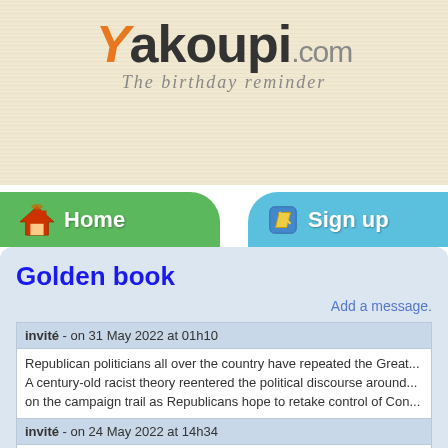[Figure (logo): Yakoupi.com logo with orange Y letter and tagline 'The birthday reminder']
[Figure (illustration): Navigation bar with green Home button (house icon) and blue Sign up button (pencil icon)]
Golden book
Add a message.
invité - on 31 May 2022 at 01h10
Republican politicians all over the country have repeated the Great... A century-old racist theory reentered the political discourse around... on the campaign trail as Republicans hope to retake control of Con...
invité - on 24 May 2022 at 14h34
The sci-fi technology tackling malarial mosquitos - Environmental c... words about gene drives - the next generation of genetic modificati... http://...